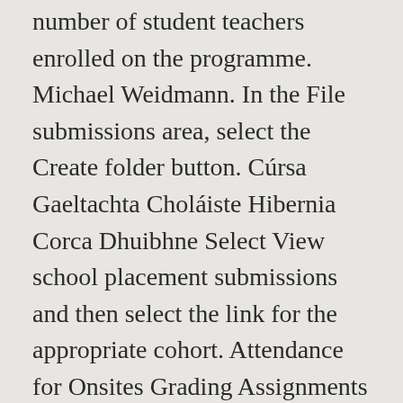number of student teachers enrolled on the programme. Michael Weidmann. In the File submissions area, select the Create folder button. Cúrsa Gaeltachta Choláiste Hibernia Corca Dhuibhne Select View school placement submissions and then select the link for the appropriate cohort. Attendance for Onsites Grading Assignments Research Supervisors. If you require assistance accessing this portal, please contact the Hibernia College Helpdesk Séamus McCarthy BA Hons, MA, HDipEd, HDipEdl. Progress bar report. School placement tutor Hibernia College. School placement tutor at Mary Immaculate College, Limerick Ireland. Nom : Actions % Valorisation: Hibernia REIT plc (HBRN) (Fonds de placement